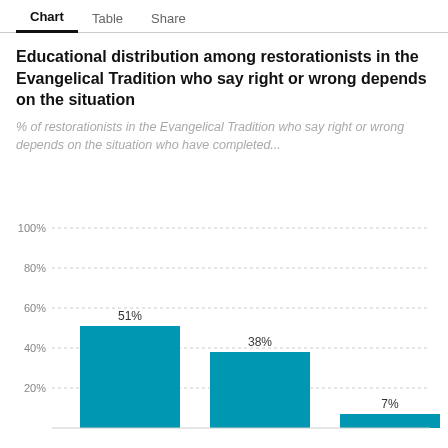Chart | Table | Share
Educational distribution among restorationists in the Evangelical Tradition who say right or wrong depends on the situation
% of restorationists in the Evangelical Tradition who say right or wrong depends on the situation who have completed...
[Figure (bar-chart): Educational distribution among restorationists in the Evangelical Tradition who say right or wrong depends on the situation]